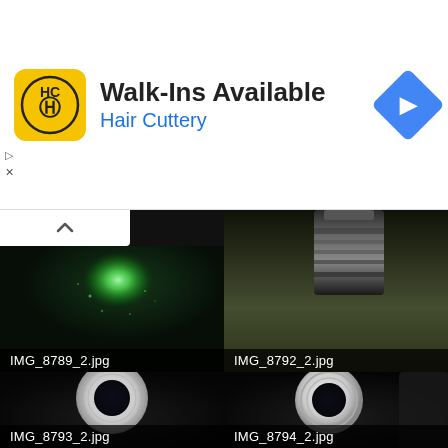[Figure (screenshot): Advertisement banner for Hair Cuttery with logo, text 'Walk-Ins Available', subtitle 'Hair Cuttery', and navigation icon]
[Figure (photo): Green laser light scatter on dark background, labeled IMG_8789_2.jpg]
[Figure (photo): Dark laser pointer barrel/tube on olive background, labeled IMG_8792_2.jpg]
[Figure (photo): Front end of laser pointer showing circular lens/aperture on dark background, labeled IMG_8793_2.jpg]
[Figure (photo): Front end of laser pointer showing circular lens/aperture on dark background from slightly different angle, labeled IMG_8794_2.jpg]